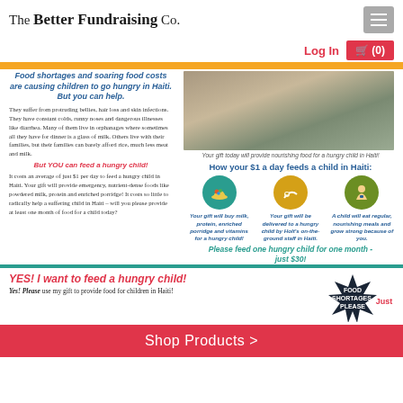The Better Fundraising Co.
Log In
🛒 (0)
Food shortages and soaring food costs are causing children to go hungry in Haiti. But you can help.
They suffer from protruding bellies, hair loss and skin infections. They have constant colds, runny noses and dangerous illnesses like diarrhea. Many of them live in orphanages where sometimes all they have for dinner is a glass of milk. Others live with their families, but their families can barely afford rice, much less meat and milk.
But YOU can feed a hungry child!
It costs an average of just $1 per day to feed a hungry child in Haiti. Your gift will provide emergency, nutrient-dense foods like powdered milk, protein and enriched porridge! It costs so little to radically help a suffering child in Haiti – will you please provide at least one month of food for a child today?
[Figure (photo): Photo of a child in Haiti]
Your gift today will provide nourishing food for a hungry child in Haiti!
How your $1 a day feeds a child in Haiti:
[Figure (infographic): Three icon circles showing: food bowl (milk, protein, enriched porridge and vitamins), delivery to child by Holt's on-the-ground staff, child eating regular nourishing meals and growing strong]
Your gift will buy milk, protein, enriched porridge and vitamins for a hungry child!
Your gift will be delivered to a hungry child by Holt's on-the-ground staff in Haiti.
A child will eat regular, nourishing meals and grow strong because of you.
Please feed one hungry child for one month - just $30!
YES! I want to feed a hungry child!
Yes! Please use my gift to provide food for children in Haiti!
[Figure (infographic): Dark starburst badge reading FOOD SHORTAGES, PLEASE with Just text]
Shop Products >